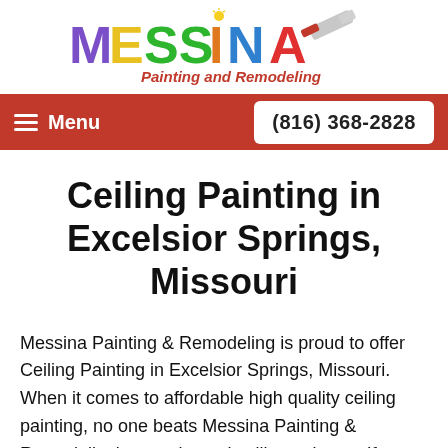[Figure (logo): Messina Painting and Remodeling colorful logo with paintbrush]
Menu  (816) 368-2828
Ceiling Painting in Excelsior Springs, Missouri
Messina Painting & Remodeling is proud to offer Ceiling Painting in Excelsior Springs, Missouri. When it comes to affordable high quality ceiling painting, no one beats Messina Painting & Remodeling's experienced ceiling painters. If you have ever tried painting the ceiling of your Excelsior Springs home or business, you know that its not an easy task. Ceiling Painting is labor-intensive work! The